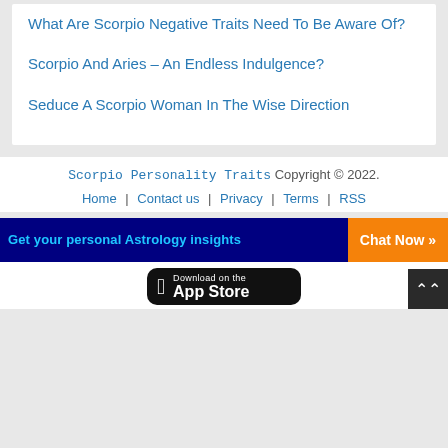What Are Scorpio Negative Traits Need To Be Aware Of?
Scorpio And Aries – An Endless Indulgence?
Seduce A Scorpio Woman In The Wise Direction
Scorpio Personality Traits Copyright © 2022. Home | Contact us | Privacy | Terms | RSS
Get your personal Astrology insights  Chat Now »
[Figure (logo): Download on the App Store badge (black)]
↑ (scroll to top button)